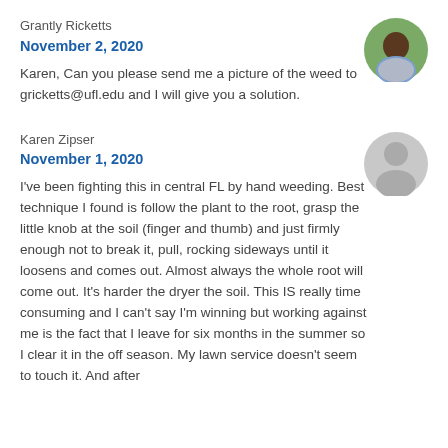Grantly Ricketts
November 2, 2020
Karen, Can you please send me a picture of the weed to gricketts@ufl.edu and I will give you a solution.
[Figure (photo): Round profile photo of a man (Grantly Ricketts)]
Karen Zipser
November 1, 2020
[Figure (photo): Generic grey circle user avatar for Karen Zipser]
I've been fighting this in central FL by hand weeding. Best technique I found is follow the plant to the root, grasp the little knob at the soil (finger and thumb) and just firmly enough not to break it, pull, rocking sideways until it loosens and comes out. Almost always the whole root will come out. It's harder the dryer the soil. This IS really time consuming and I can't say I'm winning but working against me is the fact that I leave for six months in the summer so I clear it in the off season. My lawn service doesn't seem to touch it. And after